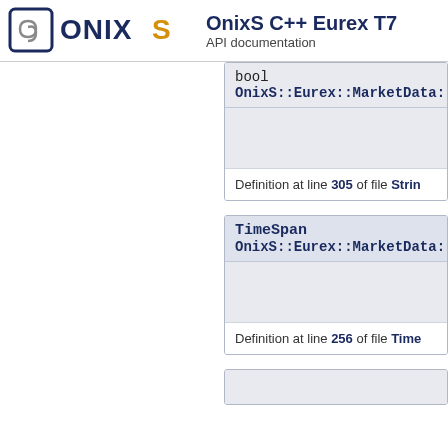OnixS C++ Eurex T7 — API documentation
bool
OnixS::Eurex::MarketData::op
Definition at line 305 of file Strin
TimeSpan
OnixS::Eurex::MarketData::op
Definition at line 256 of file Time